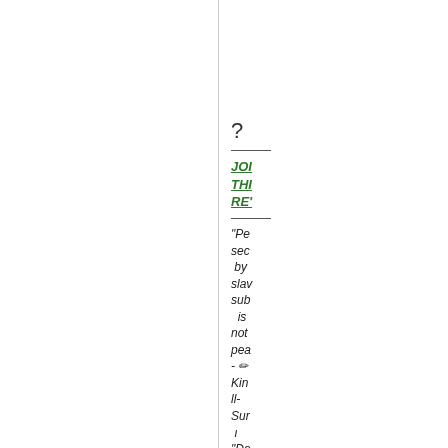?
JOIN THIS RE'
"Pe sec by slav sub is not pea - ✏ Kin ll-Sur ı "De alw